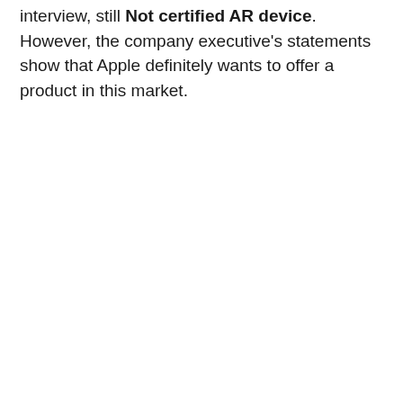interview, still Not certified AR device. However, the company executive's statements show that Apple definitely wants to offer a product in this market.